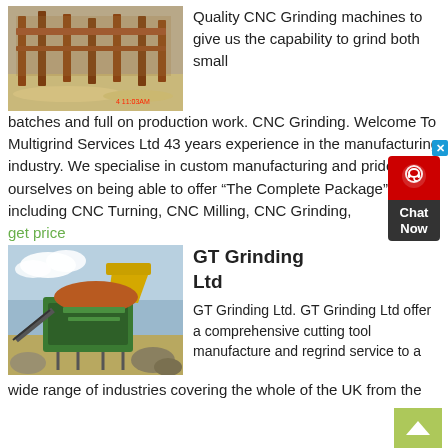[Figure (photo): Outdoor photo of an industrial grinding/mining setup with metal beams and sandy ground, timestamp 4 11:03AM in red]
Quality CNC Grinding machines to give us the capability to grind both small batches and full on production work. CNC Grinding. Welcome To Multigrind Services Ltd 43 years experience in the manufacturing industry. We specialise in custom manufacturing and pride ourselves on being able to offer “The Complete Package” including CNC Turning, CNC Milling, CNC Grinding,
get price
[Figure (photo): Outdoor photo of a large green industrial crusher/grinding machine with a yellow bucket/chute, rocks and dirt in foreground, sky in background]
GT Grinding Ltd
GT Grinding Ltd. GT Grinding Ltd offer a comprehensive cutting tool manufacture and regrind service to a wide range of industries covering the whole of the UK from the